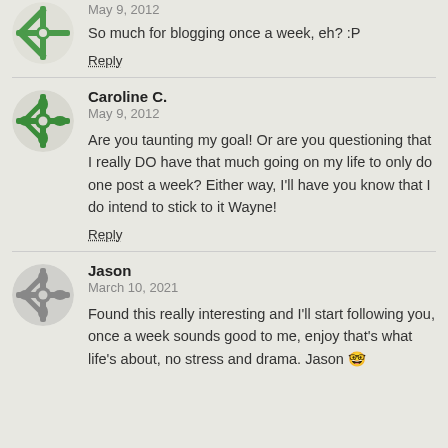[Figure (illustration): Green geometric snowflake avatar, partially visible at top]
May 9, 2012
So much for blogging once a week, eh? :P
Reply
[Figure (illustration): Green geometric snowflake avatar for Caroline C.]
Caroline C.
May 9, 2012
Are you taunting my goal! Or are you questioning that I really DO have that much going on my life to only do one post a week? Either way, I'll have you know that I do intend to stick to it Wayne!
Reply
[Figure (illustration): Gray geometric snowflake avatar for Jason]
Jason
March 10, 2021
Found this really interesting and I'll start following you, once a week sounds good to me, enjoy that's what life's about, no stress and drama. Jason 🤓